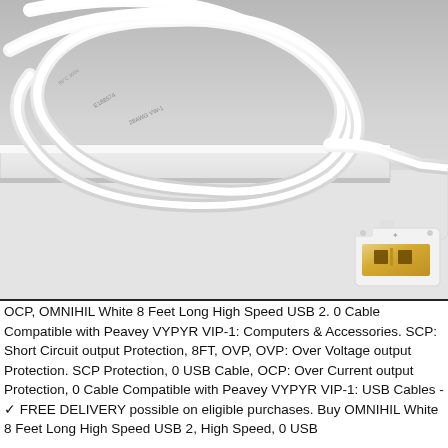[Figure (photo): A white USB cable with gold-plated USB Type-A connector, coiled on a white surface next to a white box. The cable shows printed text markings along its length.]
OCP, OMNIHIL White 8 Feet Long High Speed USB 2. 0 Cable Compatible with Peavey VYPYR VIP-1: Computers & Accessories. SCP: Short Circuit output Protection, 8FT, OVP, OVP: Over Voltage output Protection. SCP Protection, 0 USB Cable, OCP: Over Current output Protection, 0 Cable Compatible with Peavey VYPYR VIP-1: USB Cables - ✓ FREE DELIVERY possible on eligible purchases. Buy OMNIHIL White 8 Feet Long High Speed USB 2, High Speed, 0 USB